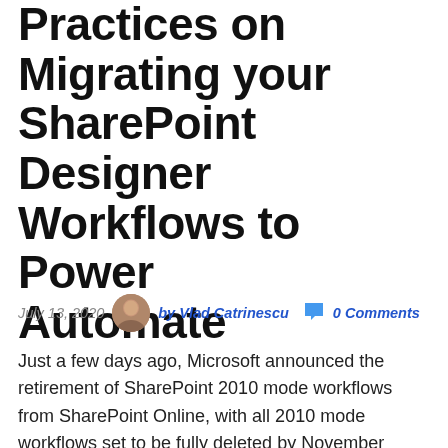Practices on Migrating your SharePoint Designer Workflows to Power Automate
July 13, 2020   by Vlad Catrinescu   0 Comments
Just a few days ago, Microsoft announced the retirement of SharePoint 2010 mode workflows from SharePoint Online, with all 2010 mode workflows set to be fully deleted by November 2020. This leaves organizations with 4 months to move their workflows to Microsoft Power Automate and keep their business processes working. Join